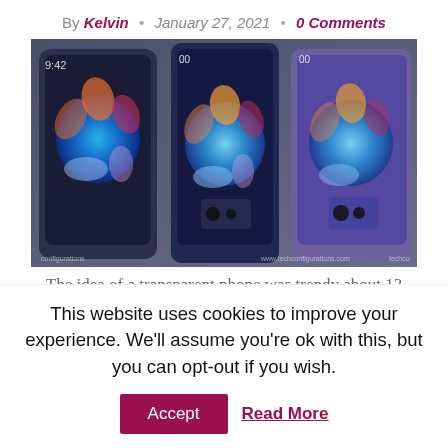By Kelvin · January 27, 2021 · 0 Comments
[Figure (photo): Three concept smartphones with transparent/floral wallpaper designs shown side by side on a dark blue background]
The idea of a transparent phone was trendy about 13
This website uses cookies to improve your experience. We'll assume you're ok with this, but you can opt-out if you wish.
Accept   Read More